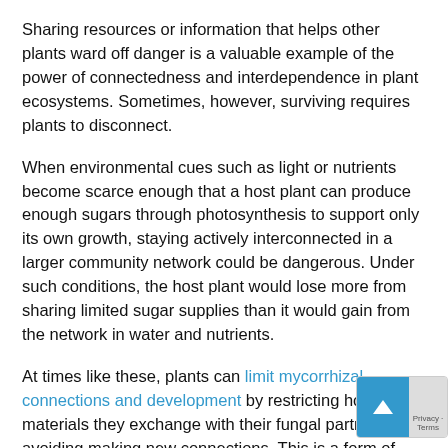Sharing resources or information that helps other plants ward off danger is a valuable example of the power of connectedness and interdependence in plant ecosystems. Sometimes, however, surviving requires plants to disconnect.
When environmental cues such as light or nutrients become scarce enough that a host plant can produce enough sugars through photosynthesis to support only its own growth, staying actively interconnected in a larger community network could be dangerous. Under such conditions, the host plant would lose more from sharing limited sugar supplies than it would gain from the network in water and nutrients.
At times like these, plants can limit mycorrhizal connections and development by restricting how many materials they exchange with their fungal partners and avoiding making new connections. This is a form of physical distancing that protects the plants' ability to support themselves when they have limited energy supplies so they can survive for the long term.